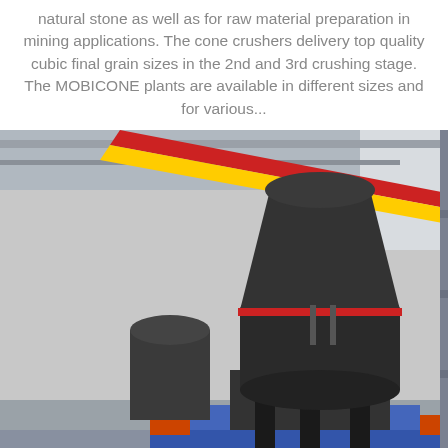natural stone as well as for raw material preparation in mining applications. The cone crushers delivery top quality cubic final grain sizes in the 2nd and 3rd crushing stage. The MOBICONE plants are available in different sizes and for various...
[Figure (photo): Industrial gyratory crusher machine inside a large warehouse/factory with metal framework structure visible in background]
gyratory crushers dijual
2019-3-10 · gyratory crusher kuwait untuk dijual. cobalt gyratory penghancur mesin untuk dijual. gyratory crusher produsen Cina untuk cooper. Jul 23, 2015 presentation on jamming of gyratory crusher china